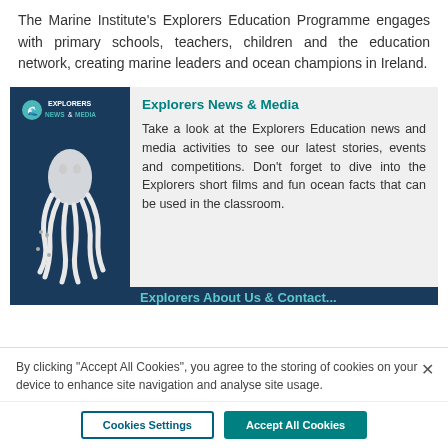The Marine Institute's Explorers Education Programme engages with primary schools, teachers, children and the education network, creating marine leaders and ocean champions in Ireland.
[Figure (illustration): Explorers News & Media banner image with an octopus illustration on a dark blue background]
Explorers News & Media
Take a look at the Explorers Education news and media activities to see our latest stories, events and competitions. Don't forget to dive into the Explorers short films and fun ocean facts that can be used in the classroom.
By clicking “Accept All Cookies”, you agree to the storing of cookies on your device to enhance site navigation and analyse site usage.